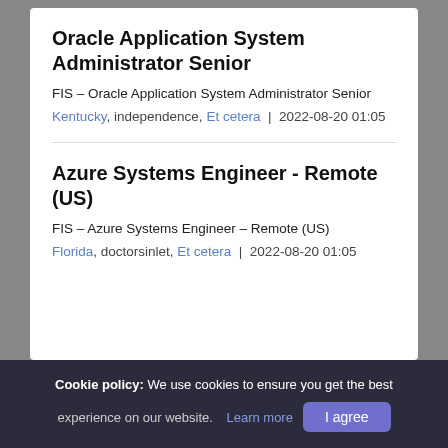Oracle Application System Administrator Senior
FIS – Oracle Application System Administrator Senior
Kentucky, independence, Et cetera  |  2022-08-20 01:05
Azure Systems Engineer - Remote (US)
FIS – Azure Systems Engineer – Remote (US)
Florida, doctorsinlet, Et cetera  |  2022-08-20 01:05
Cookie policy: We use cookies to ensure you get the best experience on our website. Learn more  I agree